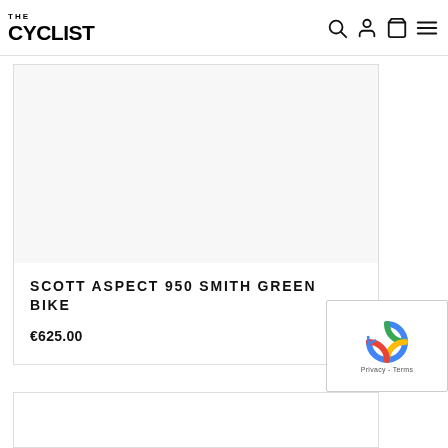THE CYCLIST
[Figure (other): Empty product image area for Scott Aspect 950 Smith Green Bike]
SCOTT ASPECT 950 SMITH GREEN BIKE
€625.00
[Figure (other): Second product card, partially visible at bottom of page]